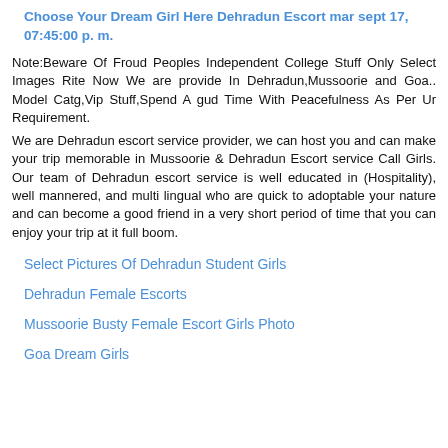Choose Your Dream Girl Here Dehradun Escort mar sept 17, 07:45:00 p. m.
Note:Beware Of Froud Peoples Independent College Stuff Only Select Images Rite Now We are provide In Dehradun,Mussoorie and Goa.. Model Catg,Vip Stuff,Spend A gud Time With Peacefulness As Per Ur Requirement.
We are Dehradun escort service provider, we can host you and can make your trip memorable in Mussoorie & Dehradun Escort service Call Girls. Our team of Dehradun escort service is well educated in (Hospitality), well mannered, and multi lingual who are quick to adoptable your nature and can become a good friend in a very short period of time that you can enjoy your trip at it full boom.
Select Pictures Of Dehradun Student Girls
Dehradun Female Escorts
Mussoorie Busty Female Escort Girls Photo
Goa Dream Girls